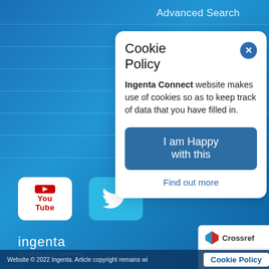Advanced Search
About us
Researchers
Librarians
New featured titles
Help
Contact us
[Figure (logo): YouTube logo icon in white box with rounded corners]
[Figure (logo): Twitter bird logo in blue box with rounded corners]
[Figure (logo): Ingenta logo - 'ingenta unlocking your tomorrow' in white on blue background]
[Figure (logo): Crossref and COUNTER logos in white rounded rectangle]
[Figure (screenshot): Cookie Policy popup overlay with title 'Cookie Policy', body text about Ingenta Connect website cookie use, 'I am Happy with this' button, and 'Find out more' link]
Website © 2022 Ingenta. Article copyright remains wi  Cookie Policy